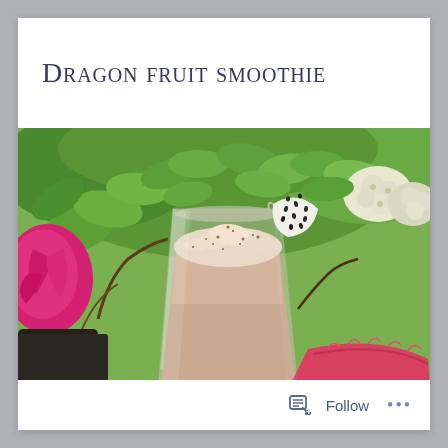Dragon fruit smoothie
[Figure (photo): A glass of dragon fruit smoothie with a frothy top, garnished with a slice of white dragon fruit with black seeds on the rim. Background shows green foliage, pink bougainvillea flowers, white flowers, and a pink dragon fruit in the foreground.]
Follow ...